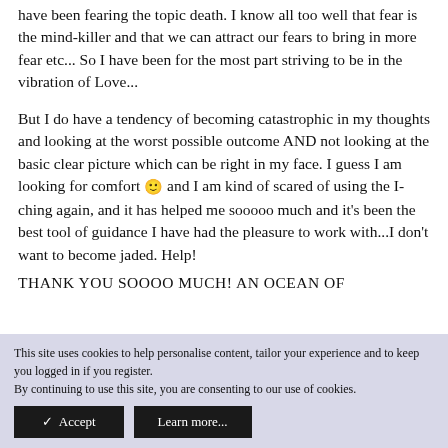have been fearing the topic death. I know all too well that fear is the mind-killer and that we can attract our fears to bring in more fear etc... So I have been for the most part striving to be in the vibration of Love...
But I do have a tendency of becoming catastrophic in my thoughts and looking at the worst possible outcome AND not looking at the basic clear picture which can be right in my face. I guess I am looking for comfort 🙂 and I am kind of scared of using the I-ching again, and it has helped me sooooo much and it's been the best tool of guidance I have had the pleasure to work with...I don't want to become jaded. Help! THANK YOU SOOOO MUCH! AN OCEAN OF
This site uses cookies to help personalise content, tailor your experience and to keep you logged in if you register.
By continuing to use this site, you are consenting to our use of cookies.